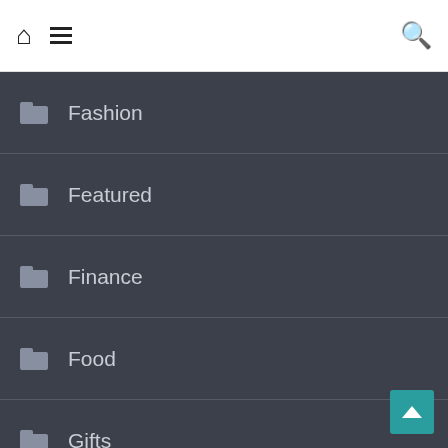Home | Menu | Search
Fashion
Featured
Finance
Food
Gifts
Health
Home
Home Improvement
Industrial Fume Extractors
Insurance
Law